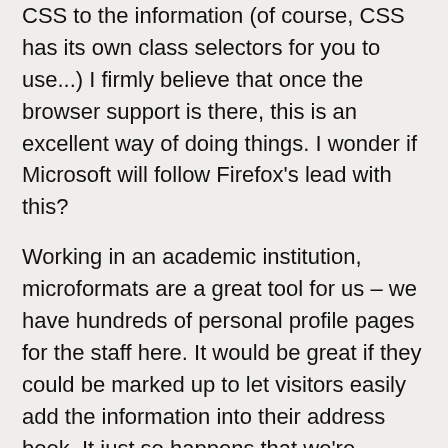CSS to the information (of course, CSS has its own class selectors for you to use...) I firmly believe that once the browser support is there, this is an excellent way of doing things. I wonder if Microsoft will follow Firefox's lead with this?
Working in an academic institution, microformats are a great tool for us – we have hundreds of personal profile pages for the staff here. It would be great if they could be marked up to let visitors easily add the information into their address book. It just so happens that we're needing to rewrite the profile pages anyway to better organise them. Also, we have an events system that would lend itself very well to the hCalendar implementation – which we are also looking at rewriting.